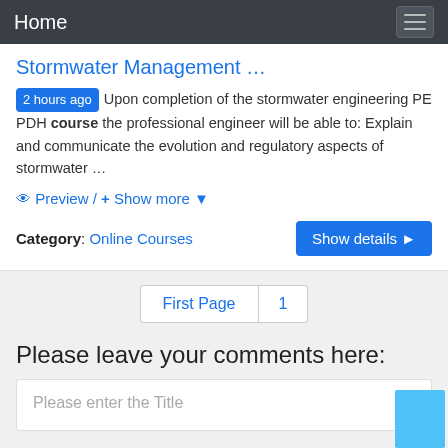Home
Stormwater Management …
2 hours ago Upon completion of the stormwater engineering PE PDH course the professional engineer will be able to: Explain and communicate the evolution and regulatory aspects of stormwater …
👁 Preview / + Show more ▾
Category: Online Courses
First Page 1
Please leave your comments here:
Please enter the Title